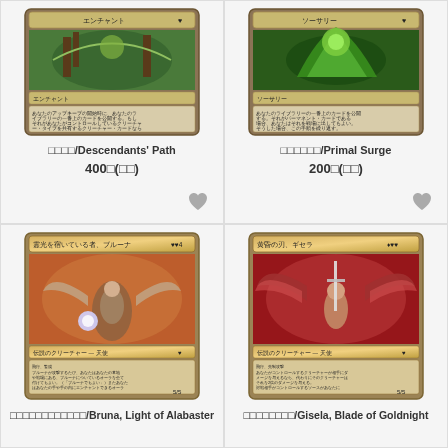[Figure (illustration): Magic: The Gathering card - Descendants' Path (enchantment, green, Japanese text)]
□□□□/Descendants' Path
400□(□□)
[Figure (illustration): Magic: The Gathering card - Primal Surge (sorcery, green, Japanese text)]
□□□□□□/Primal Surge
200□(□□)
[Figure (illustration): Magic: The Gathering card - Bruna, Light of Alabaster (creature, angel, gold border, Japanese text)]
□□□□□□□□□□□□/Bruna, Light of Alabaster
[Figure (illustration): Magic: The Gathering card - Gisela, Blade of Goldnight (creature, angel, gold border, Japanese text)]
□□□□□□□□/Gisela, Blade of Goldnight